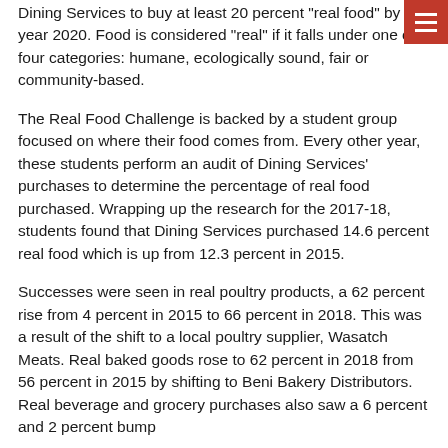Dining Services to buy at least 20 percent "real food" by the year 2020. Food is considered "real" if it falls under one of four categories: humane, ecologically sound, fair or community-based.
The Real Food Challenge is backed by a student group focused on where their food comes from. Every other year, these students perform an audit of Dining Services' purchases to determine the percentage of real food purchased. Wrapping up the research for the 2017-18, students found that Dining Services purchased 14.6 percent real food which is up from 12.3 percent in 2015.
Successes were seen in real poultry products, a 62 percent rise from 4 percent in 2015 to 66 percent in 2018. This was a result of the shift to a local poultry supplier, Wasatch Meats. Real baked goods rose to 62 percent in 2018 from 56 percent in 2015 by shifting to Beni Bakery Distributors. Real beverage and grocery purchases also saw a 6 percent and 2 percent bump...